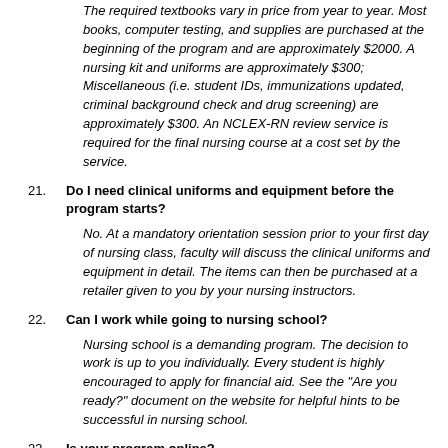The required textbooks vary in price from year to year. Most books, computer testing, and supplies are purchased at the beginning of the program and are approximately $2000. A nursing kit and uniforms are approximately $300; Miscellaneous (i.e. student IDs, immunizations updated, criminal background check and drug screening) are approximately $300. An NCLEX-RN review service is required for the final nursing course at a cost set by the service.
21. Do I need clinical uniforms and equipment before the program starts?
No. At a mandatory orientation session prior to your first day of nursing class, faculty will discuss the clinical uniforms and equipment in detail. The items can then be purchased at a retailer given to you by your nursing instructors.
22. Can I work while going to nursing school?
Nursing school is a demanding program. The decision to work is up to you individually. Every student is highly encouraged to apply for financial aid. See the "Are you ready?" document on the website for helpful hints to be successful in nursing school.
23. Is your program online?